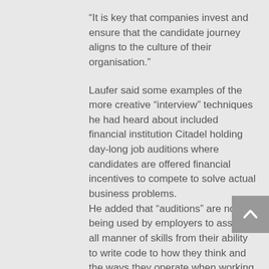“It is key that companies invest and ensure that the candidate journey aligns to the culture of their organisation.”
Laufer said some examples of the more creative “interview” techniques he had heard about included financial institution Citadel holding day-long job auditions where candidates are offered financial incentives to compete to solve actual business problems. He added that “auditions” are now being used by employers to assess all manner of skills from their ability to write code to how they think and the ways they operate when working with peers to identify leaders in the group.